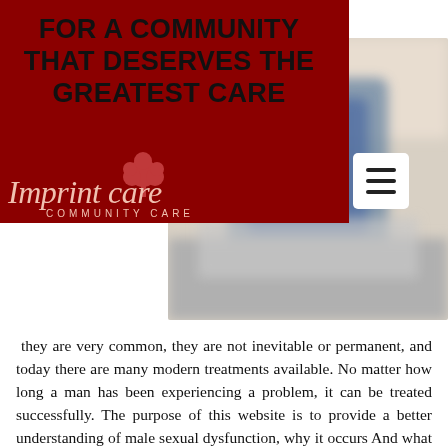[Figure (logo): Imprint Care Community Care logo on dark red background with tree icon]
FOR A COMMUNITY THAT DESERVES THE GREATEST CARE
[Figure (photo): Blurred photo of medical/community care related imagery with blue tones]
they are very common, they are not inevitable or permanent, and today there are many modern treatments available. No matter how long a man has been experiencing a problem, it can be treated successfully. The purpose of this website is to provide a better understanding of male sexual dysfunction, why it occurs And what treatment options are now